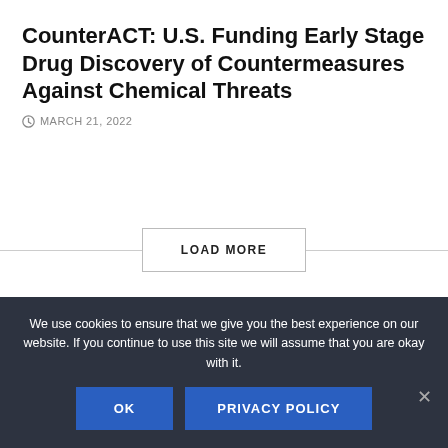CounterACT: U.S. Funding Early Stage Drug Discovery of Countermeasures Against Chemical Threats
MARCH 21, 2022
LOAD MORE
We use cookies to ensure that we give you the best experience on our website. If you continue to use this site we will assume that you are okay with it.
OK
PRIVACY POLICY